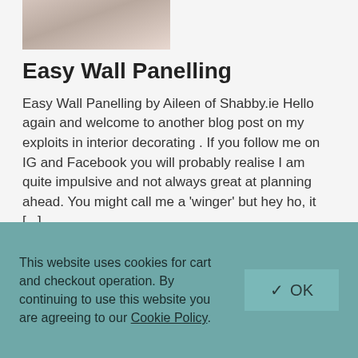[Figure (photo): Thumbnail photo of interior decorating scene, partially visible at top]
Easy Wall Panelling
Easy Wall Panelling by Aileen of Shabby.ie Hello again and welcome to another blog post on my exploits in interior decorating . If you follow me on IG and Facebook you will probably realise I am quite impulsive and not always great at planning ahead. You might call me a 'winger' but hey ho, it [...]
Read More
[Figure (photo): Thumbnail photo of outdoor garden table scene, partially visible]
This website uses cookies for cart and checkout operation. By continuing to use this website you are agreeing to our Cookie Policy.